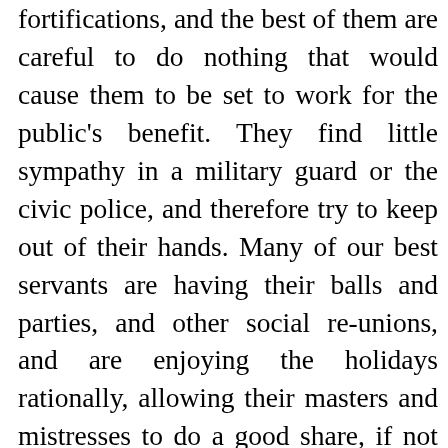fortifications, and the best of them are careful to do nothing that would cause them to be set to work for the public's benefit. They find little sympathy in a military guard or the civic police, and therefore try to keep out of their hands. Many of our best servants are having their balls and parties, and other social re-unions, and are enjoying the holidays rationally, allowing their masters and mistresses to do a good share, if not all, of their own work; but they will report for duty at the customary time, invigorated and refreshed after their eight days relaxation.